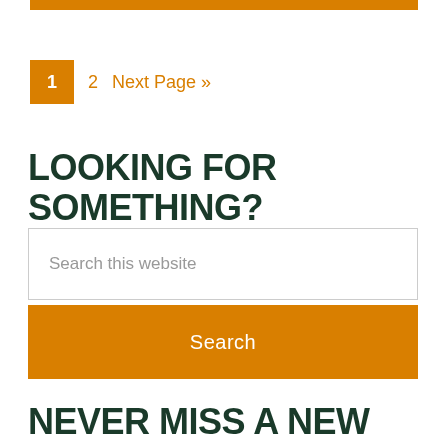[Figure (other): Orange horizontal decorative bar at top of page]
1  2  Next Page »
LOOKING FOR SOMETHING?
Search this website
Search
NEVER MISS A NEW POST OR